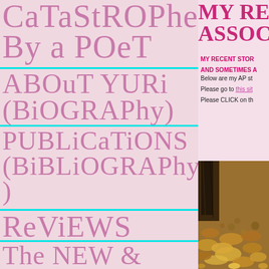Catastrophe by a poet
ABOUT YURi (BiOGRAPhy)
PUBLiCaTiONS (BiBLiOGRAPhy)
ReViEWS
The NEW & SeLeCTeD YURi WRiTiNG
MY REC ASSOCI
MY RECENT STOR AND SOMETIMES A
Below are my AP st
Please go to this site
Please CLICK on th
[Figure (photo): Close-up photo of fallen autumn leaves and debris on the ground, with dark tree trunk/bark visible]